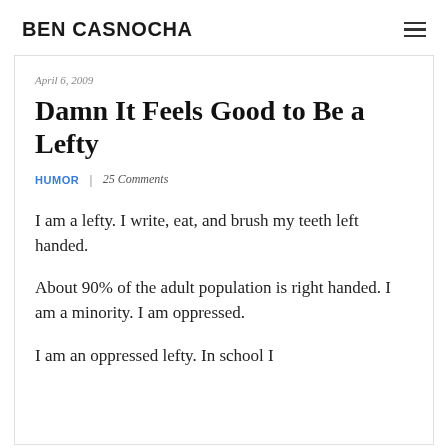BEN CASNOCHA
April 6, 2009
Damn It Feels Good to Be a Lefty
HUMOR | 25 Comments
I am a lefty. I write, eat, and brush my teeth left handed.
About 90% of the adult population is right handed. I am a minority. I am oppressed.
I am an oppressed lefty. In school I